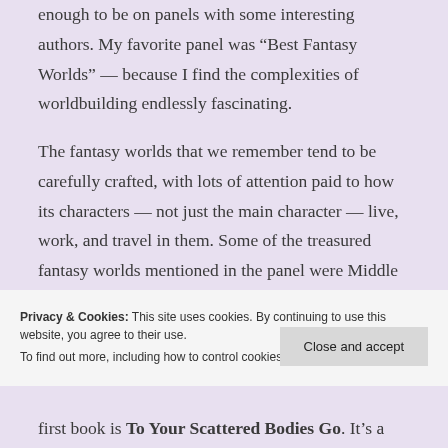enough to be on panels with some interesting authors. My favorite panel was “Best Fantasy Worlds” — because I find the complexities of worldbuilding endlessly fascinating.
The fantasy worlds that we remember tend to be carefully crafted, with lots of attention paid to how its characters — not just the main character — live, work, and travel in them. Some of the treasured fantasy worlds mentioned in the panel were Middle Earth, Narnia, Hogwarts, Discworld, Camelot, Oz, and Earthsea.
Privacy & Cookies: This site uses cookies. By continuing to use this website, you agree to their use.
To find out more, including how to control cookies, see here: Cookie Policy
Close and accept
first book is To Your Scattered Bodies Go. It’s a